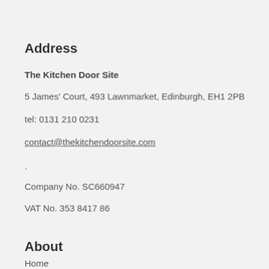Address
The Kitchen Door Site
5 James' Court, 493 Lawnmarket, Edinburgh, EH1 2PB
tel: 0131 210 0231
contact@thekitchendoorsite.com
.
Company No. SC660947
VAT No. 353 8417 86
About
Home